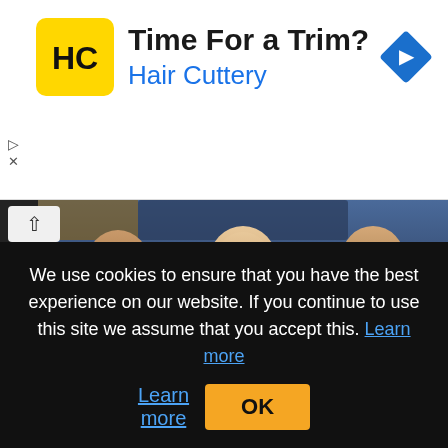[Figure (illustration): Hair Cuttery advertisement banner with yellow logo showing HC initials, text 'Time For a Trim?' and 'Hair Cuttery' in blue, and a blue navigation diamond icon on the right]
[Figure (photo): Three heavily tattooed people posing with arms crossed against a dark blue background — a man with glasses on the left, a blonde woman in the center, and a man on the right]
Paramount+ Reveals Stacked Lineup of Former Contestants for the Most Anticipated Return of 'Ink Master'
We use cookies to ensure that you have the best experience on our website. If you continue to use this site we assume that you accept this. Learn more OK